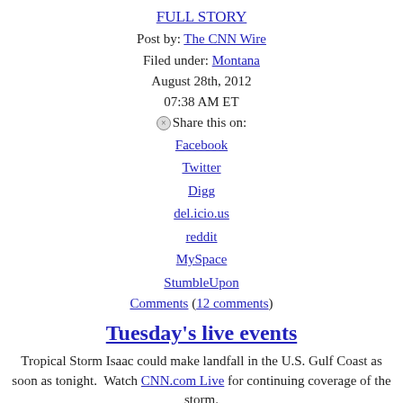FULL STORY
Post by: The CNN Wire
Filed under: Montana
August 28th, 2012
07:38 AM ET
Share this on:
Facebook
Twitter
Digg
del.icio.us
reddit
MySpace
StumbleUpon
Comments (12 comments)
Tuesday's live events
Tropical Storm Isaac could make landfall in the U.S. Gulf Coast as soon as tonight.  Watch CNN.com Live for continuing coverage of the storm.
Today's programming highlights...
Continuing coverage - Tropical Storm Isaac tracker